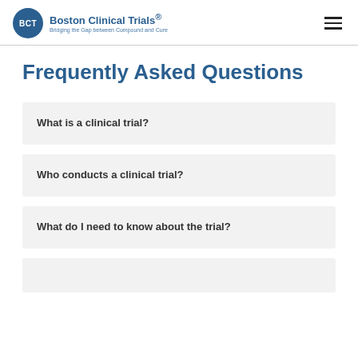Boston Clinical Trials® — Bridging the Gap between Compound and Cure
Frequently Asked Questions
What is a clinical trial?
Who conducts a clinical trial?
What do I need to know about the trial?